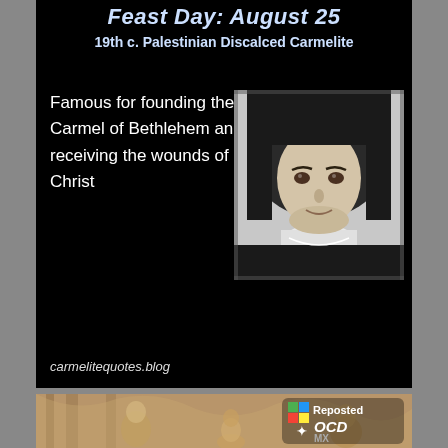Feast Day: August 25
19th c. Palestinian Discalced Carmelite
Famous for founding the Carmel of Bethlehem and receiving the wounds of Christ
[Figure (photo): Black and white portrait photograph of a nun wearing a dark habit and veil with white collar]
carmelitequotes.blog
[Figure (illustration): Sepia-toned engraving or illustration of religious figures in architectural setting, with Reposted OCD MX logo overlay]